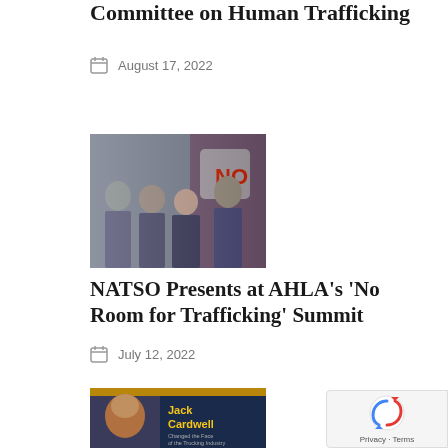Committee on Human Trafficking
August 17, 2022
[Figure (photo): Group photo of four people in business attire standing in front of a 'No' sign background]
NATSO Presents at AHLA's 'No Room for Trafficking' Summit
July 12, 2022
[Figure (photo): Book cover featuring Jack Cardwell - a man's face with gold and dark blue design, trucking industry related book]